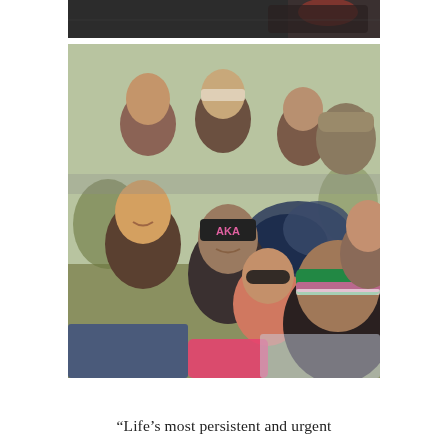[Figure (photo): Partial view of a vehicle or outdoor scene, cropped at top]
[Figure (photo): Group selfie photo of approximately 10-12 people outdoors in cold weather, some wearing winter hats including one with 'AKA' lettering and one with green, pink and white stripes, smiling at camera with bags piled in background]
“Life’s most persistent and urgent